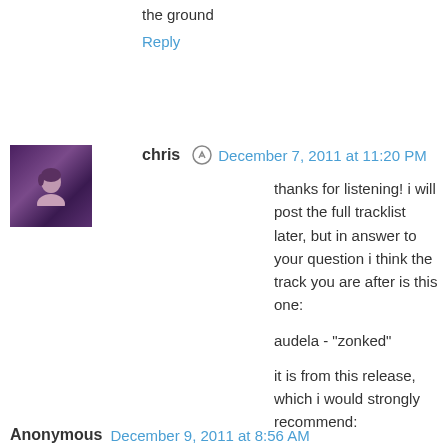the ground
Reply
chris  December 7, 2011 at 11:20 PM
thanks for listening! i will post the full tracklist later, but in answer to your question i think the track you are after is this one:

audela - "zonked"

it is from this release, which i would strongly recommend:

http://plaguerecordings.bandcamp.com/album/black-death-series-best-of-chillopia

amazing dark ambient.
Reply
Anonymous  December 9, 2011 at 8:56 AM